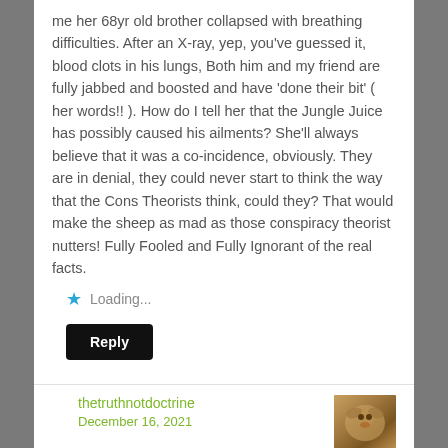me her 68yr old brother collapsed with breathing difficulties. After an X-ray, yep, you've guessed it, blood clots in his lungs, Both him and my friend are fully jabbed and boosted and have 'done their bit' ( her words!! ). How do I tell her that the Jungle Juice has possibly caused his ailments? She'll always believe that it was a co-incidence, obviously. They are in denial, they could never start to think the way that the Cons Theorists think, could they? That would make the sheep as mad as those conspiracy theorist nutters! Fully Fooled and Fully Ignorant of the real facts.
Loading...
Reply
thetruthnotdoctrine
December 16, 2021